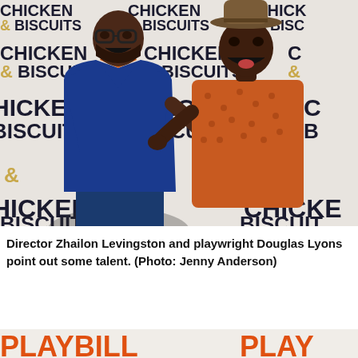[Figure (photo): Two men posing in front of a 'CHICKEN & BISCUITS' step-and-repeat backdrop. The man on the left wears a blue suit over an orange turtleneck and glasses. The man on the right wears an orange patterned short-sleeve shirt and a brown hat. Both are smiling widely and pointing at each other.]
Director Zhailon Levingston and playwright Douglas Lyons point out some talent. (Photo: Jenny Anderson)